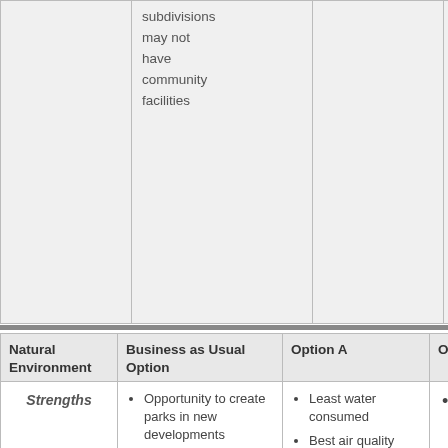|  |  |  |  |
| --- | --- | --- | --- |
|  | subdivisions may not have community facilities |  |  |
| Natural Environment | Business as Usual Option | Option A | Opti... |
| --- | --- | --- | --- |
| Strengths | Opportunity to create parks in new developments | Least water consumed
Best air quality improvement
Best response to natural disasters | •
•
• |